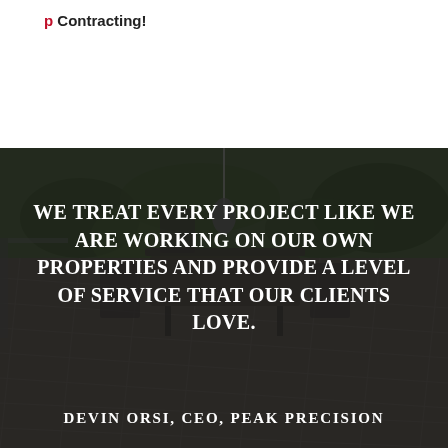Contracting!
[Figure (photo): Aerial/overhead view of a patio with paving stones, outdoor dining table with chairs, pendant light, and surrounding greenery, with a dark overlay. Text overlay reads: WE TREAT EVERY PROJECT LIKE WE ARE WORKING ON OUR OWN PROPERTIES AND PROVIDE A LEVEL OF SERVICE THAT OUR CLIENTS LOVE.]
DEVIN ORSI, CEO, PEAK PRECISION